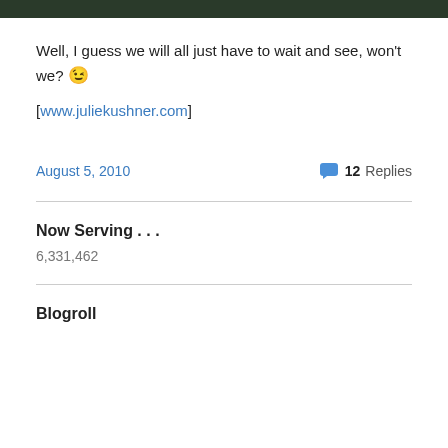[Figure (photo): Dark image banner at top of page]
Well, I guess we will all just have to wait and see, won't we? 😉
[www.juliekushner.com]
August 5, 2010    💬 12 Replies
Now Serving . . .
6,331,462
Blogroll